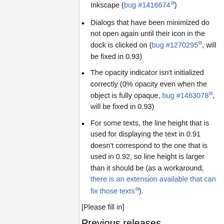Inkscape (bug #1416674)
Dialogs that have been minimized do not open again until their icon in the dock is clicked on (bug #1270295, will be fixed in 0.93)
The opacity indicator isn't initialized correctly (0% opacity even when the object is fully opaque, bug #1463078, will be fixed in 0.93)
For some texts, the line height that is used for displaying the text in 0.91 doesn't correspond to the one that is used in 0.92, so line height is larger than it should be (as a workaround, there is an extension available that can fix those texts).
[Please fill in]
Previous releases